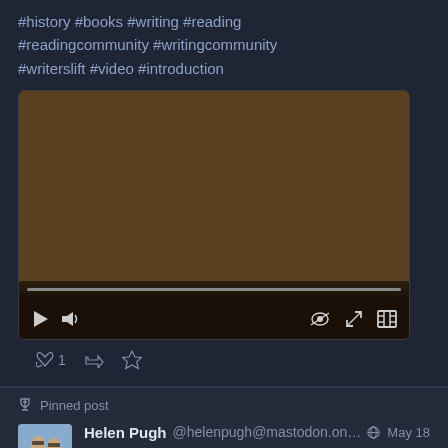#history #books #writing #reading #readingcommunity #writingcommunity #writerslift #video #introduction
[Figure (screenshot): Embedded video player with brown/dark video frame, progress bar, play button, volume icon, and fullscreen controls]
↩ 1  [retweet icon]  [star icon]
📌 Pinned post
[Figure (photo): Avatar photo of Helen Pugh - two people wearing sunglasses outdoors]
Helen Pugh @helenpugh@mastodon.on... 🌐 May 18
Historical writer here!

So far, I've written about pre-Columbian South